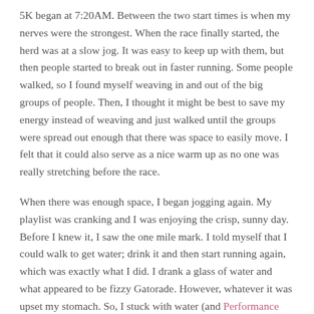5K began at 7:20AM. Between the two start times is when my nerves were the strongest. When the race finally started, the herd was at a slow jog. It was easy to keep up with them, but then people started to break out in faster running. Some people walked, so I found myself weaving in and out of the big groups of people. Then, I thought it might be best to save my energy instead of weaving and just walked until the groups were spread out enough that there was space to easily move. I felt that it could also serve as a nice warm up as no one was really stretching before the race.
When there was enough space, I began jogging again. My playlist was cranking and I was enjoying the crisp, sunny day. Before I knew it, I saw the one mile mark. I told myself that I could walk to get water; drink it and then start running again, which was exactly what I did. I drank a glass of water and what appeared to be fizzy Gatorade. However, whatever it was upset my stomach. So, I stuck with water (and Performance when I got home).
After my little walk and drink break,  I found it helpful to find